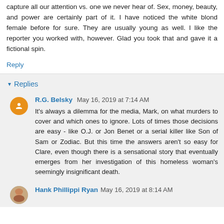capture all our attention vs. one we never hear of. Sex, money, beauty, and power are certainly part of it. I have noticed the white blond female before for sure. They are usually young as well. I like the reporter you worked with, however. Glad you took that and gave it a fictional spin.
Reply
Replies
R.G. Belsky  May 16, 2019 at 7:14 AM
It's always a dilemma for the media, Mark, on what murders to cover and which ones to ignore. Lots of times those decisions are easy - like O.J. or Jon Benet or a serial killer like Son of Sam or Zodiac. But this time the answers aren't so easy for Clare, even though there is a sensational story that eventually emerges from her investigation of this homeless woman's seemingly insignificant death.
Hank Phillippi Ryan  May 16, 2019 at 8:14 AM